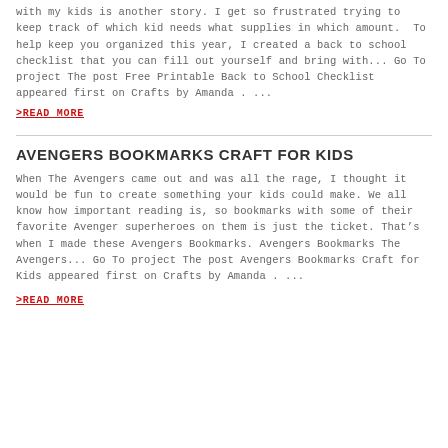with my kids is another story. I get so frustrated trying to keep track of which kid needs what supplies in which amount.  To help keep you organized this year, I created a back to school checklist that you can fill out yourself and bring with... Go To project The post Free Printable Back to School Checklist appeared first on Crafts by Amanda . ...
>READ MORE
AVENGERS BOOKMARKS CRAFT FOR KIDS
When The Avengers came out and was all the rage, I thought it would be fun to create something your kids could make. We all know how important reading is, so bookmarks with some of their favorite Avenger superheroes on them is just the ticket. That’s when I made these Avengers Bookmarks. Avengers Bookmarks The Avengers... Go To project The post Avengers Bookmarks Craft for Kids appeared first on Crafts by Amanda . ...
>READ MORE